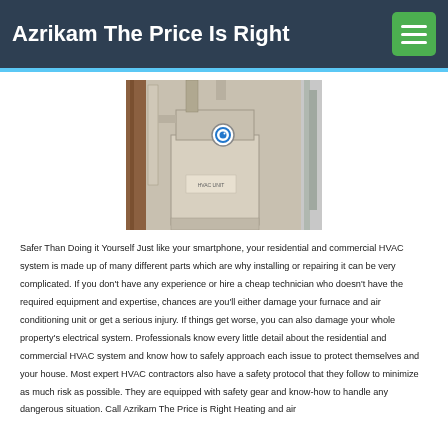Azrikam The Price Is Right
[Figure (photo): Photo of a residential HVAC furnace unit installed in a basement or utility room, showing ductwork and piping]
Safer Than Doing it Yourself Just like your smartphone, your residential and commercial HVAC system is made up of many different parts which are why installing or repairing it can be very complicated. If you don't have any experience or hire a cheap technician who doesn't have the required equipment and expertise, chances are you'll either damage your furnace and air conditioning unit or get a serious injury. If things get worse, you can also damage your whole property's electrical system. Professionals know every little detail about the residential and commercial HVAC system and know how to safely approach each issue to protect themselves and your house. Most expert HVAC contractors also have a safety protocol that they follow to minimize as much risk as possible. They are equipped with safety gear and know-how to handle any dangerous situation. Call Azrikam The Price is Right Heating and air